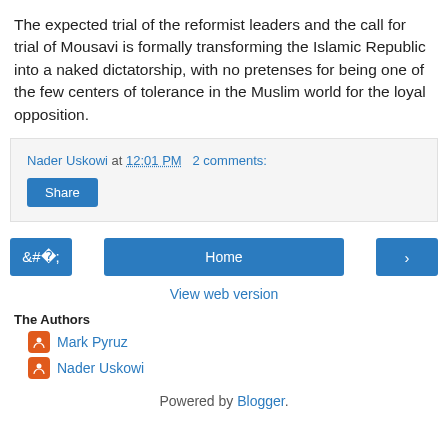The expected trial of the reformist leaders and the call for trial of Mousavi is formally transforming the Islamic Republic into a naked dictatorship, with no pretenses for being one of the few centers of tolerance in the Muslim world for the loyal opposition.
Nader Uskowi at 12:01 PM   2 comments:
Share
‹   Home   ›
View web version
The Authors
Mark Pyruz
Nader Uskowi
Powered by Blogger.